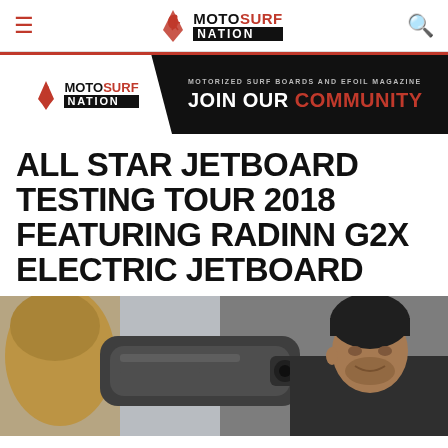≡  MOTOSURF NATION  🔍
[Figure (infographic): MotoSurf Nation banner ad with logo on white diagonal background on left and 'MOTORIZED SURF BOARDS AND EFOIL MAGAZINE – JOIN OUR COMMUNITY' text on dark background on right]
ALL STAR JETBOARD TESTING TOUR 2018 FEATURING RADINN G2X ELECTRIC JETBOARD
[Figure (photo): Close-up photo of a man with dark hair and a cap looking at a black electric jetboard, with another person's blond hair visible on the left side]